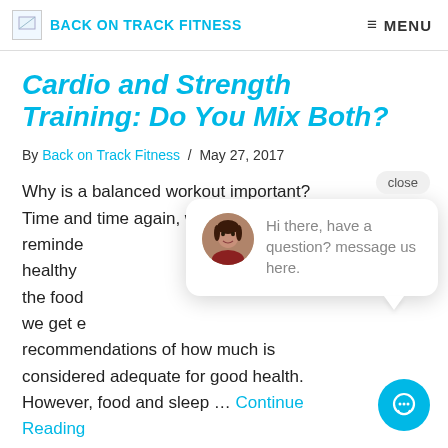BACK ON TRACK FITNESS  ≡ MENU
Cardio and Strength Training: Do You Mix Both?
By Back on Track Fitness / May 27, 2017
Why is a balanced workout important? Time and time again, we have been reminded healthy ... the food ... we get e... recommendations of how much is considered adequate for good health. However, food and sleep … Continue Reading
[Figure (screenshot): Chat popup widget with avatar photo of a woman, message 'Hi there, have a question? message us here.' and a close button. Blue chat bubble button in bottom right corner.]